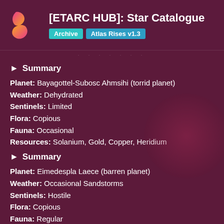[ETARC HUB]: Star Catalogue | Archive | Atlas Rises v1.3
▶ Summary
Planet: Bayagottel-Subosc Ahmsihi (torrid planet)
Weather: Dehydrated
Sentinels: Limited
Flora: Copious
Fauna: Occasional
Resources: Solanium, Gold, Copper, Heridium
▶ Summary
Planet: Eimedespla Laece (barren planet)
Weather: Occasional Sandstorms
Sentinels: Hostile
Flora: Copious
Fauna: Regular
Resources: Cactus Flesh, Gold, Copper, Her...